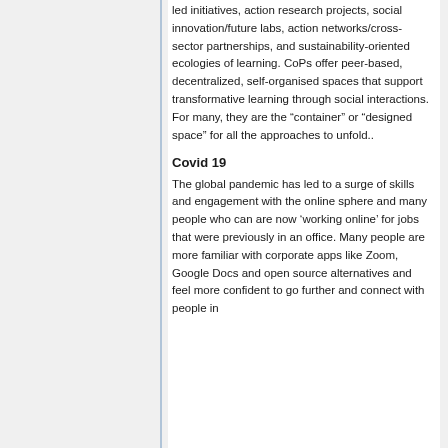led initiatives, action research projects, social innovation/future labs, action networks/cross-sector partnerships, and sustainability-oriented ecologies of learning. CoPs offer peer-based, decentralized, self-organised spaces that support transformative learning through social interactions. For many, they are the "container" or "designed space" for all the approaches to unfold..
Covid 19
The global pandemic has led to a surge of skills and engagement with the online sphere and many people who can are now ‘working online’ for jobs that were previously in an office. Many people are more familiar with corporate apps like Zoom, Google Docs and open source alternatives and feel more confident to go further and connect with people in